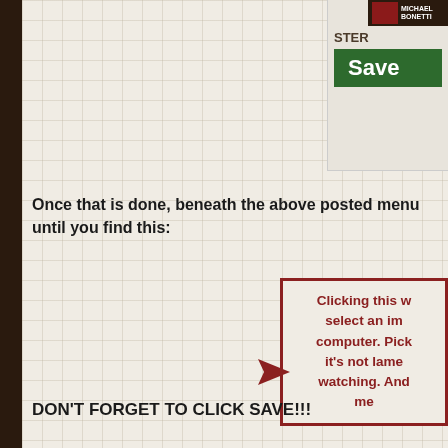[Figure (screenshot): Top-right screenshot showing a 'STER Save' button interface element with a dark book thumbnail]
Once that is done, beneath the above posted menu until you find this:
[Figure (screenshot): Background image upload widget showing a dark thumbnail with delete checkbox and green 'upload picture' button, with a red arrow callout box explaining clicking will let you select an image from your computer]
DON'T FORGET TO CLICK SAVE!!!